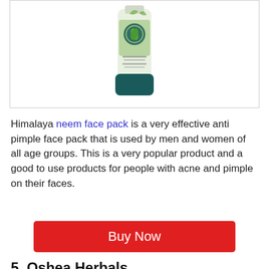[Figure (photo): Himalaya neem face pack product tube with green and white design, shown partially cropped in a bordered box]
Himalaya neem face pack is a very effective anti pimple face pack that is used by men and women of all age groups. This is a very popular product and a good to use products for people with acne and pimple on their faces.
Buy Now
5. Oshea Herbals